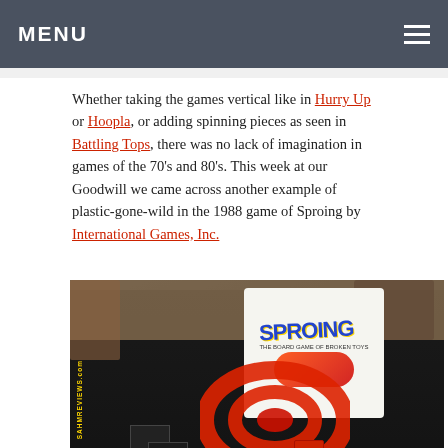MENU
Whether taking the games vertical like in Hurry Up or Hoopla, or adding spinning pieces as seen in Battling Tops, there was no lack of imagination in games of the 70's and 80's. This week at our Goodwill we came across another example of plastic-gone-wild in the 1988 game of Sproing by International Games, Inc.
[Figure (photo): Photo of the 1988 Sproing board game by International Games, Inc., showing the game box with the 'SPROING' logo and children playing on the cover, along with the red spiral game board and game components (cards, dice) laid out on a dark table. A yellow watermark 'SAHMREVIEWS.com' is visible on the left side. A reCAPTCHA Privacy-Terms badge appears in the bottom right corner.]